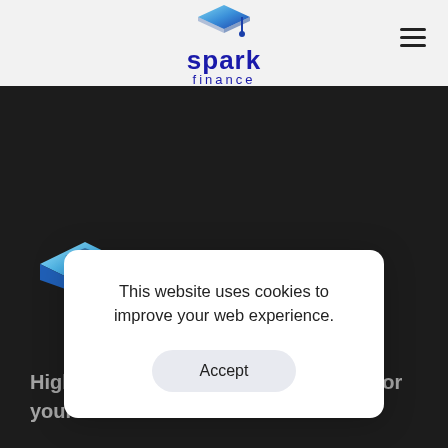[Figure (logo): Spark Finance logo with graduation cap icon and blue text reading 'spark finance']
[Figure (illustration): Hamburger/menu icon (three horizontal lines) in top right of header]
[Figure (illustration): Blue gradient graduation cap icon on dark background section]
Highly [obscured] ns for your s[obscured]
[Figure (logo): LinkedIn icon (square with 'in' text) on dark background]
This website uses cookies to improve your web experience.
Accept